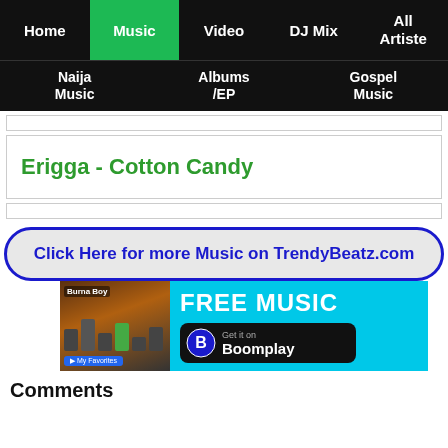Home | Music | Video | DJ Mix | All Artiste | Naija Music | Albums /EP | Gospel Music
Erigga - Cotton Candy
Click Here for more Music on TrendyBeatz.com
[Figure (infographic): Boomplay ad banner with Burna Boy photo, FREE MUSIC text, and Boomplay Get it on badge]
Comments